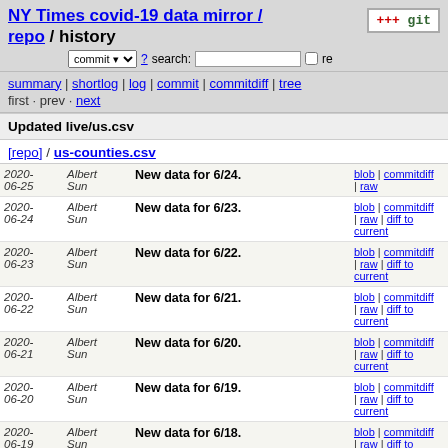NY Times covid-19 data mirror / repo / history
commit ? search: re
summary | shortlog | log | commit | commitdiff | tree
first · prev · next
Updated live/us.csv
[repo] / us-counties.csv
| Date | Author | Message | Links |
| --- | --- | --- | --- |
| 2020-06-25 | Albert Sun | New data for 6/24. | blob | commitdiff | raw |
| 2020-06-24 | Albert Sun | New data for 6/23. | blob | commitdiff | raw | diff to current |
| 2020-06-23 | Albert Sun | New data for 6/22. | blob | commitdiff | raw | diff to current |
| 2020-06-22 | Albert Sun | New data for 6/21. | blob | commitdiff | raw | diff to current |
| 2020-06-21 | Albert Sun | New data for 6/20. | blob | commitdiff | raw | diff to current |
| 2020-06-20 | Albert Sun | New data for 6/19. | blob | commitdiff | raw | diff to current |
| 2020-06-19 | Albert Sun | New data for 6/18. | blob | commitdiff | raw | diff to current |
| 2020-06-18 | Albert Sun | New data for 6/17. | blob | commitdiff | raw | diff to |